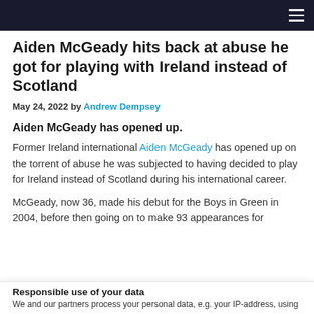Aiden McGeady hits back at abuse he got for playing with Ireland instead of Scotland
May 24, 2022 by Andrew Dempsey
Aiden McGeady has opened up.
Former Ireland international Aiden McGeady has opened up on the torrent of abuse he was subjected to having decided to play for Ireland instead of Scotland during his international career.
McGeady, now 36, made his debut for the Boys in Green in 2004, before then going on to make 93 appearances for
Responsible use of your data
We and our partners process your personal data, e.g. your IP-address, using